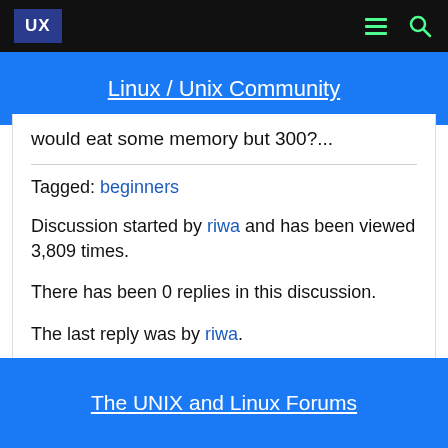UX
Linux / Unix Community
would eat some memory but 300?...
Tagged: beginners
Discussion started by riwa and has been viewed 3,809 times.
There has been 0 replies in this discussion.
The last reply was by riwa.
The UNIX and Linux Forums